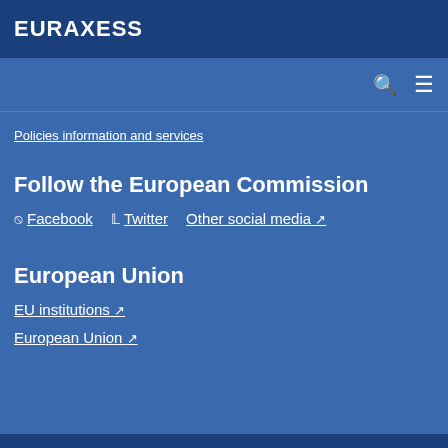EURAXESS
Policies information and services
Follow the European Commission
Facebook
Twitter
Other social media
European Union
EU institutions
European Union